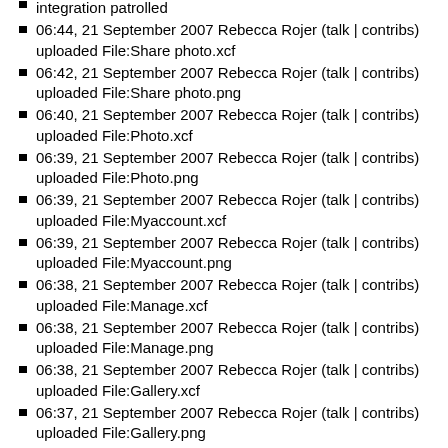integration patrolled
06:44, 21 September 2007 Rebecca Rojer (talk | contribs) uploaded File:Share photo.xcf
06:42, 21 September 2007 Rebecca Rojer (talk | contribs) uploaded File:Share photo.png
06:40, 21 September 2007 Rebecca Rojer (talk | contribs) uploaded File:Photo.xcf
06:39, 21 September 2007 Rebecca Rojer (talk | contribs) uploaded File:Photo.png
06:39, 21 September 2007 Rebecca Rojer (talk | contribs) uploaded File:Myaccount.xcf
06:39, 21 September 2007 Rebecca Rojer (talk | contribs) uploaded File:Myaccount.png
06:38, 21 September 2007 Rebecca Rojer (talk | contribs) uploaded File:Manage.xcf
06:38, 21 September 2007 Rebecca Rojer (talk | contribs) uploaded File:Manage.png
06:38, 21 September 2007 Rebecca Rojer (talk | contribs) uploaded File:Gallery.xcf
06:37, 21 September 2007 Rebecca Rojer (talk | contribs) uploaded File:Gallery.png
06:37, 21 September 2007 Rebecca Rojer (talk | contribs) uploaded File:Editphoto.xcf
06:36, 21 September 2007 Rebecca Rojer (talk | contribs) uploaded File:Editphoto.png
06:35, 21 September 2007 Rebecca Rojer (talk | contribs)